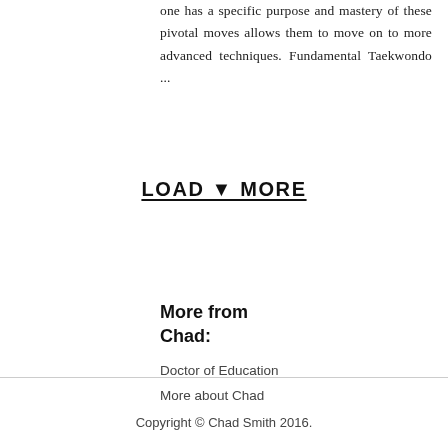one has a specific purpose and mastery of these pivotal moves allows them to move on to more advanced techniques. Fundamental Taekwondo ...
LOAD ▼ MORE
More from Chad:
Doctor of Education
More about Chad
Copyright © Chad Smith 2016.